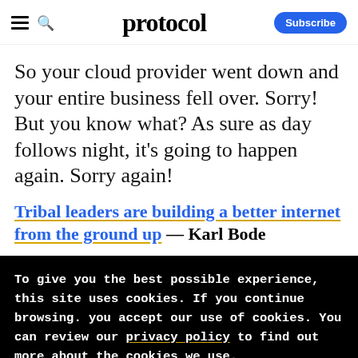protocol — Subscribe
So your cloud provider went down and your entire business fell over. Sorry! But you know what? As sure as day follows night, it's going to happen again. Sorry again!
Tribal leaders are building a better internet from the ground up — Karl Bode
To give you the best possible experience, this site uses cookies. If you continue browsing. you accept our use of cookies. You can review our privacy policy to find out more about the cookies we use.
Accept